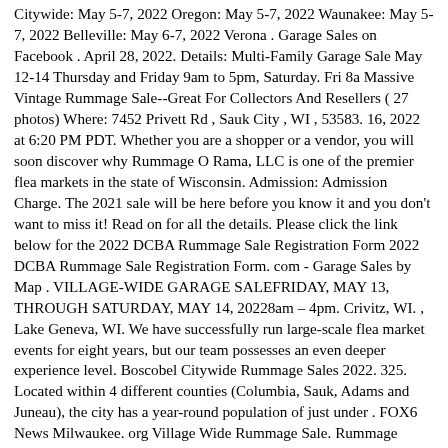Citywide: May 5-7, 2022 Oregon: May 5-7, 2022 Waunakee: May 5-7, 2022 Belleville: May 6-7, 2022 Verona . Garage Sales on Facebook . April 28, 2022. Details: Multi-Family Garage Sale May 12-14 Thursday and Friday 9am to 5pm, Saturday. Fri 8a Massive Vintage Rummage Sale--Great For Collectors And Resellers ( 27 photos) Where: 7452 Privett Rd , Sauk City , WI , 53583. 16, 2022 at 6:20 PM PDT. Whether you are a shopper or a vendor, you will soon discover why Rummage O Rama, LLC is one of the premier flea markets in the state of Wisconsin. Admission: Admission Charge. The 2021 sale will be here before you know it and you don't want to miss it! Read on for all the details. Please click the link below for the 2022 DCBA Rummage Sale Registration Form 2022 DCBA Rummage Sale Registration Form. com - Garage Sales by Map . VILLAGE-WIDE GARAGE SALEFRIDAY, MAY 13, THROUGH SATURDAY, MAY 14, 20228am – 4pm. Crivitz, WI. , Lake Geneva, WI. We have successfully run large-scale flea market events for eight years, but our team possesses an even deeper experience level. Boscobel Citywide Rummage Sales 2022. 325. Located within 4 different counties (Columbia, Sauk, Adams and Juneau), the city has a year-round population of just under . FOX6 News Milwaukee. org Village Wide Rummage Sale. Rummage Along the River. Rotary Club of Superior Craft Beer and Wine . Traffic control will be the Contractors responsibility. If you are interested in joining the Fire Department, please contact Chris Schmidt at 262-689-2220 for more information. The Village